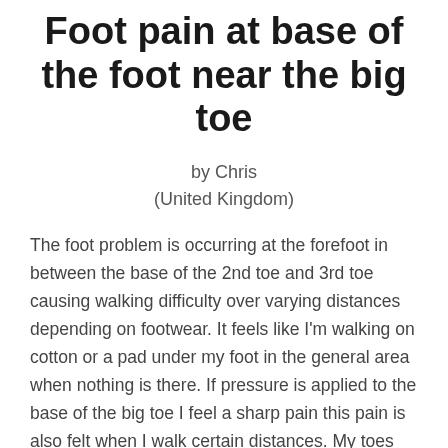Foot pain at base of the foot near the big toe
by Chris
(United Kingdom)
The foot problem is occurring at the forefoot in between the base of the 2nd toe and 3rd toe causing walking difficulty over varying distances depending on footwear. It feels like I'm walking on cotton or a pad under my foot in the general area when nothing is there. If pressure is applied to the base of the big toe I feel a sharp pain this pain is also felt when I walk certain distances. My toes begin to swell and spread apart and i get numbness in the base of the foot.